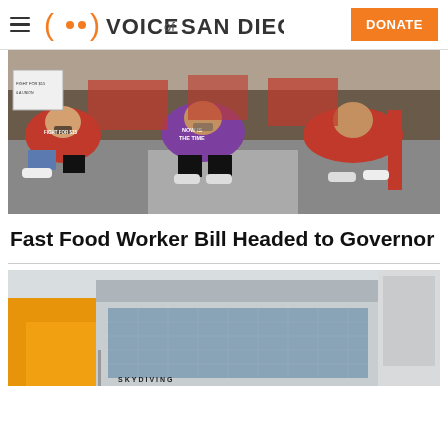Voice of San Diego
[Figure (photo): Protest crowd with people sitting on pavement wearing red and purple shirts, some holding signs, at what appears to be a labor rights demonstration for fast food workers.]
Fast Food Worker Bill Headed to Governor
[Figure (photo): Modern building exterior with yellow/orange architectural element on the left and glass facade, with a sign reading SKYDIVING in the lower portion.]